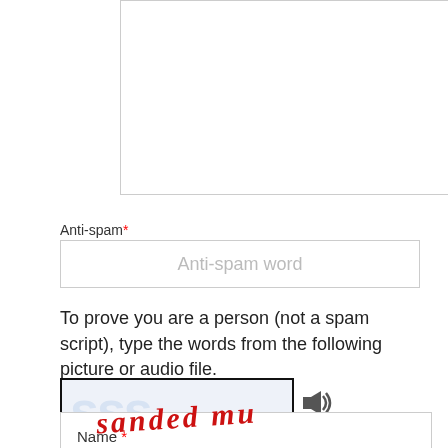[Figure (screenshot): Large empty textarea input box with resize handle at bottom right]
Anti-spam*
[Figure (screenshot): Text input field with placeholder text 'Anti-spam word']
To prove you are a person (not a spam script), type the words from the following picture or audio file.
[Figure (screenshot): CAPTCHA image showing handwritten red text 'sanded mu' with audio and refresh icons]
[Figure (screenshot): Name input field with label 'Name *']